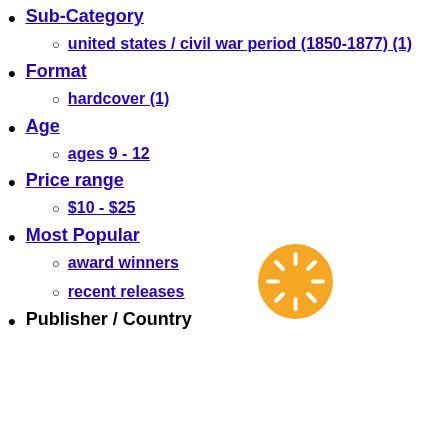Sub-Category
united states / civil war period (1850-1877) (1)
Format
hardcover (1)
Age
ages 9 - 12
Price range
$10 - $25
Most Popular
award winners
recent releases
Publisher / Country